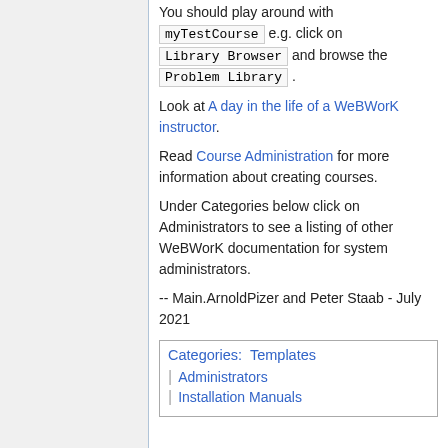You should play around with myTestCourse e.g. click on Library Browser and browse the Problem Library.
Look at A day in the life of a WeBWorK instructor.
Read Course Administration for more information about creating courses.
Under Categories below click on Administrators to see a listing of other WeBWorK documentation for system administrators.
-- Main.ArnoldPizer and Peter Staab - July 2021
| Categories: | Templates | Administrators | Installation Manuals |